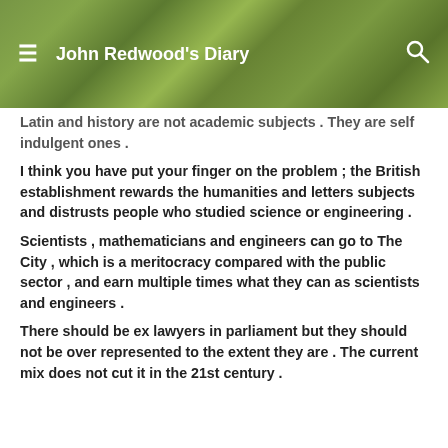John Redwood's Diary
Latin and history are not academic subjects . They are self indulgent ones .
I think you have put your finger on the problem ; the British establishment rewards the humanities and letters subjects and distrusts people who studied science or engineering .
Scientists , mathematicians and engineers can go to The City , which is a meritocracy compared with the public sector , and earn multiple times what they can as scientists and engineers .
There should be ex lawyers in parliament but they should not be over represented to the extent they are . The current mix does not cut it in the 21st century .